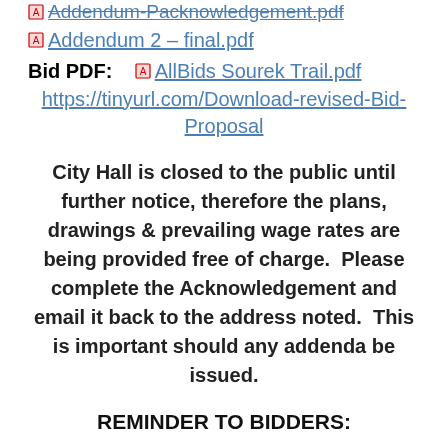Addendum-Packnowledgement.pdf
Addendum 2 – final.pdf
Bid PDF:  AllBids Sourek Trail.pdf
https://tinyurl.com/Download-revised-Bid-Proposal
City Hall is closed to the public until further notice, therefore the plans, drawings & prevailing wage rates are being provided free of charge.  Please complete the Acknowledgement and email it back to the address noted.  This is important should any addenda be issued.
REMINDER TO BIDDERS: